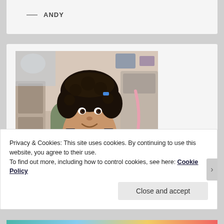— ANDY
[Figure (photo): Young girl with curly dark hair sitting in a dental/medical chair, wearing a striped top and a light blue dental bib, smiling at the camera. Medical office setting visible in background.]
Privacy & Cookies: This site uses cookies. By continuing to use this website, you agree to their use.
To find out more, including how to control cookies, see here: Cookie Policy
Close and accept